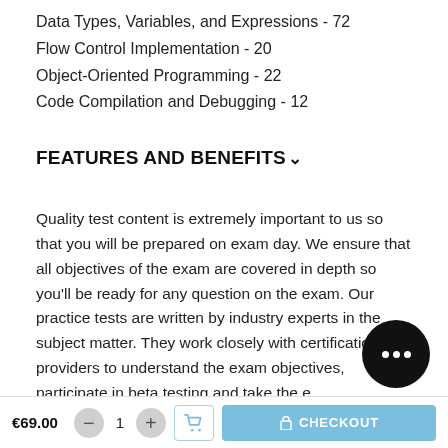Data Types, Variables, and Expressions - 72
Flow Control Implementation - 20
Object-Oriented Programming - 22
Code Compilation and Debugging - 12
FEATURES AND BENEFITS
Quality test content is extremely important to us so that you will be prepared on exam day. We ensure that all objectives of the exam are covered in depth so you'll be ready for any question on the exam. Our practice tests are written by industry experts in the subject matter. They work closely with certification providers to understand the exam objectives, participate in beta testing and take the e… themselves before creating new practice tests. MeasureU… y
€69.00   -  1  +  [cart]  CHECKOUT